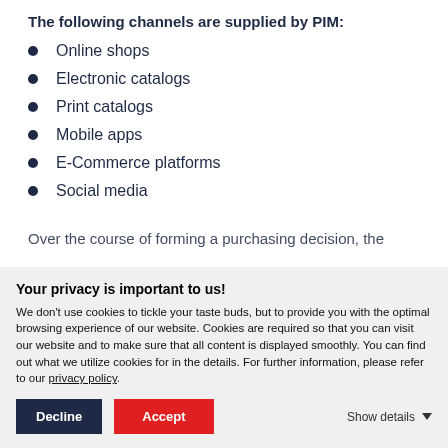The following channels are supplied by PIM:
Online shops
Electronic catalogs
Print catalogs
Mobile apps
E-Commerce platforms
Social media
Over the course of forming a purchasing decision, the
Your privacy is important to us! We don't use cookies to tickle your taste buds, but to provide you with the optimal browsing experience of our website. Cookies are required so that you can visit our website and to make sure that all content is displayed smoothly. You can find out what we utilize cookies for in the details. For further information, please refer to our privacy policy.
Decline  Accept  Show details